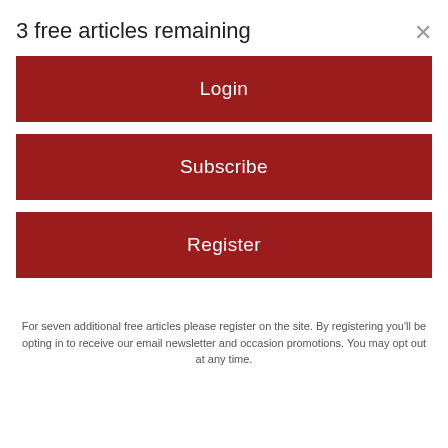3 free articles remaining
Login
Subscribe
Register
For seven additional free articles please register on the site. By registering you'll be opting in to receive our email newsletter and occasion promotions. You may opt out at any time.
[Figure (photo): Close-up photograph of human skin showing texture and wrinkles, possibly a foot or hand]
One Bite Of This Keeps Blood Sugar